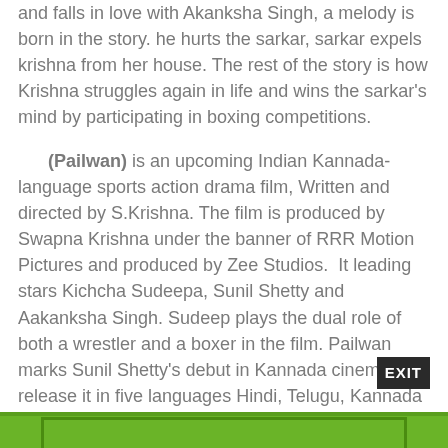and falls in love with Akanksha Singh, a melody is born in the story. he hurts the sarkar, sarkar expels krishna from her house. The rest of the story is how Krishna struggles again in life and wins the sarkar's mind by participating in boxing competitions.
(Pailwan) is an upcoming Indian Kannada-language sports action drama film, Written and directed by S.Krishna. The film is produced by Swapna Krishna under the banner of RRR Motion Pictures and produced by Zee Studios. It leading stars Kichcha Sudeepa, Sunil Shetty and Aakanksha Singh. Sudeep plays the dual role of both a wrestler and a boxer in the film. Pailwan marks Sunil Shetty's debut in Kannada cinema. release it in five languages Hindi, Telugu, Kannada & other